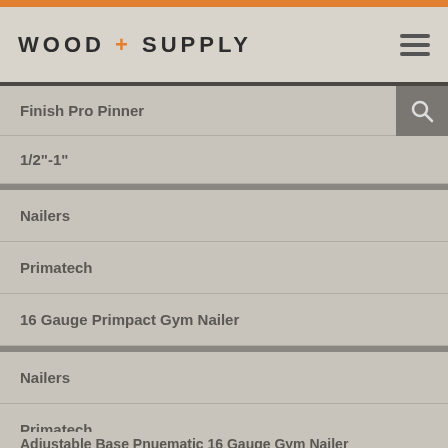WOOD + SUPPLY
Finish Pro Pinner
1/2"-1"
Nailers
Primatech
16 Gauge Primpact Gym Nailer
Nailers
Primatech
Adjustable Base Pnuematic 16 Gauge Gym Nailer